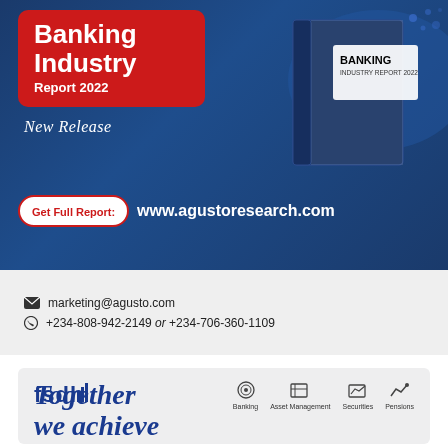[Figure (illustration): Banking Industry Report 2022 advertisement banner with dark blue background, red title box, book image, New Release italic text, Get Full Report button linking to www.agustoresearch.com]
marketing@agusto.com
+234-808-942-2149 or +234-706-360-1109
[Figure (illustration): FSDH bank advertisement with light grey background, FSDH logo, service icons for Banking, Asset Management, Securities, Pensions, and italic text 'Together we achieve']